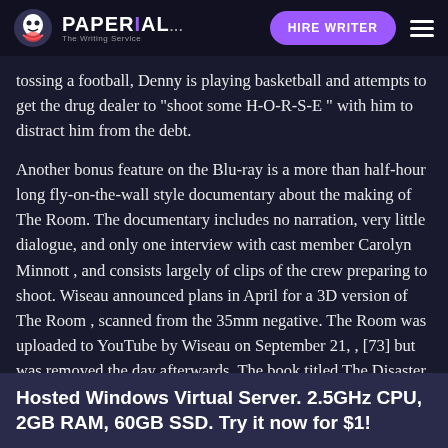PAPERIAL... HIRE WRITER
tossing a football, Denny is playing basketball and attempts to get the drug dealer to "shoot some H-O-R-S-E " with him to distract him from the debt.
Another bonus feature on the Blu-ray is a more than half-hour long fly-on-the-wall style documentary about the making of The Room. The documentary includes no narration, very little dialogue, and only one interview with cast member Carolyn Minnott , and consists largely of clips of the crew preparing to shoot. Wiseau announced plans in April for a 3D version of The Room , scanned from the 35mm negative. The Room was uploaded to YouTube by Wiseau on September 21, , [73] but was removed the day afterwards. The book titled The Disaster Artist
Hosted Windows Virtual Server. 2.5GHz CPU, 2GB RAM, 60GB SSD. Try it now for $1!